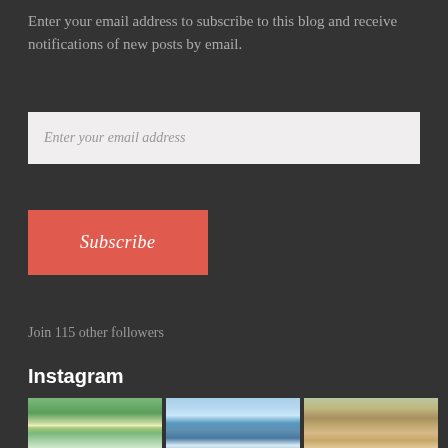Enter your email address to subscribe to this blog and receive notifications of new posts by email.
Enter your email address
Subscribe
Join 115 other followers
Instagram
[Figure (photo): Three Instagram photos: a gazebo in a park with trees, two people standing in a lake with mountains in distance, and a child with goats at a farm fence]
[Figure (photo): Lake scene with two people standing in calm water, mountains in background, light blue sky]
[Figure (photo): Child with goats behind wire fence in dry grass field]